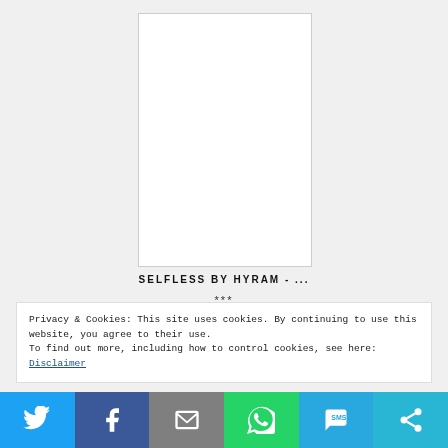[Figure (photo): White rectangular book/product image placeholder with light gray border]
SELFLESS BY HYRAM - ...
***
Privacy & Cookies: This site uses cookies. By continuing to use this website, you agree to their use.
To find out more, including how to control cookies, see here: Disclaimer